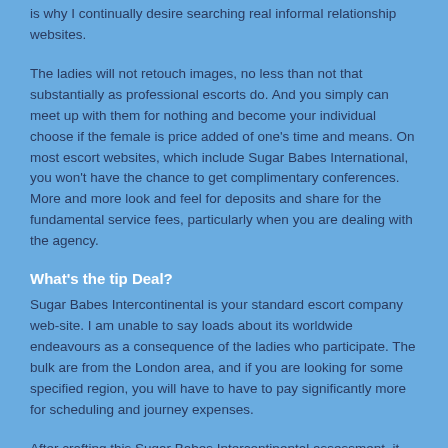is why I continually desire searching real informal relationship websites.
The ladies will not retouch images, no less than not that substantially as professional escorts do. And you simply can meet up with them for nothing and become your individual choose if the female is price added of one's time and means. On most escort websites, which include Sugar Babes International, you won't have the chance to get complimentary conferences. More and more look and feel for deposits and share for the fundamental service fees, particularly when you are dealing with the agency.
What's the tip Deal?
Sugar Babes Intercontinental is your standard escort company web-site. I am unable to say loads about its worldwide endeavours as a consequence of the ladies who participate. The bulk are from the London area, and if you are looking for some specified region, you will have to have to pay significantly more for scheduling and journey expenses.
After crafting this Sugar Babes Intercontinental assessment, it will be come noticeable that you'll need to have to navigate. It